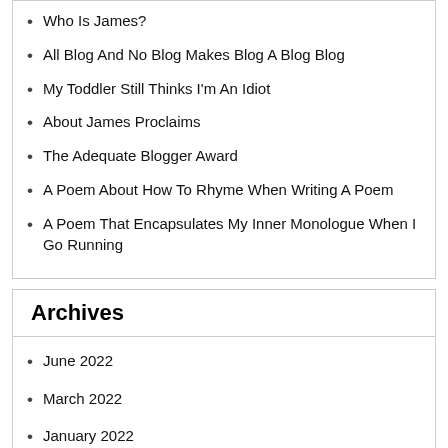Who Is James?
All Blog And No Blog Makes Blog A Blog Blog
My Toddler Still Thinks I'm An Idiot
About James Proclaims
The Adequate Blogger Award
A Poem About How To Rhyme When Writing A Poem
A Poem That Encapsulates My Inner Monologue When I Go Running
Archives
June 2022
March 2022
January 2022
December 2021
November 2021
October 2021
September 2021